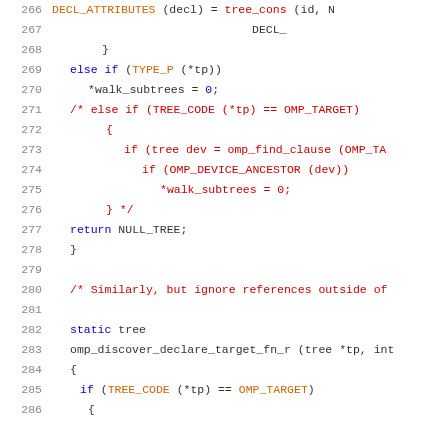Source code listing, lines 266-286, C/C++ code with syntax highlighting showing OMP (OpenMP) related functions including omp_discover_declare_target_fn_r